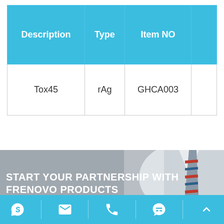| Description | Type | Item NO |  |
| --- | --- | --- | --- |
| Tox45 | rAg | GHCA003 |  |
[Figure (photo): Background photo of person in white shirt and tie, with promotional text overlay: START YOUR PARTNERSHIP WITH FRENOVO PRODUCTS]
Skype | Email | Phone | Chat | Up